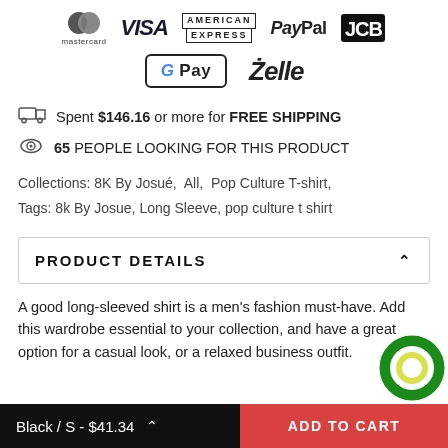[Figure (logo): Payment method logos row 1: Mastercard, VISA, American Express, PayPal, JCB]
[Figure (logo): Payment method logos row 2: Google Pay, Zelle]
Spent $146.16 or more for FREE SHIPPING
65 PEOPLE LOOKING FOR THIS PRODUCT
Collections: 8K By Josué,  All,  Pop Culture T-shirt,
Tags: 8k By Josue, Long Sleeve, pop culture t shirt
PRODUCT DETAILS
A good long-sleeved shirt is a men's fashion must-have. Add this wardrobe essential to your collection, and have a great option for a casual look, or a relaxed business outfit.
Black / S - $41.34   ADD TO CART